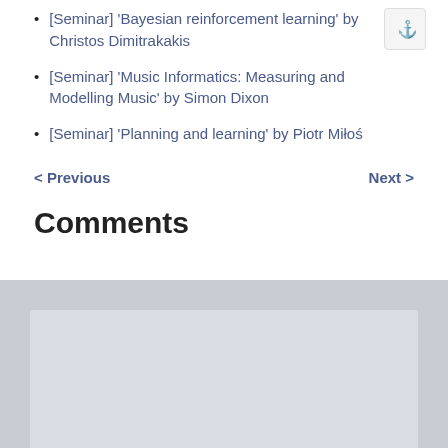[Seminar] 'Bayesian reinforcement learning' by Christos Dimitrakakis
[Seminar] 'Music Informatics: Measuring and Modelling Music' by Simon Dixon
[Seminar] 'Planning and learning' by Piotr Miłoś
< Previous    Next >
Comments
Contact us at:   Site powered by Jekyll & Github Pages. Theme designed by HyG.